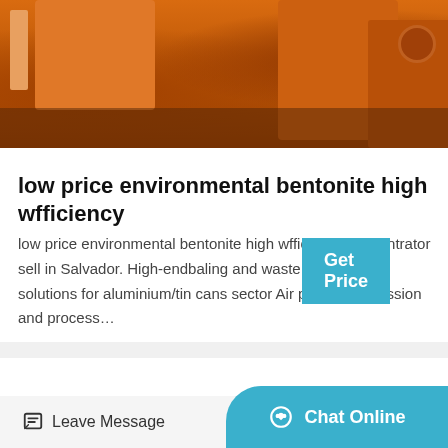[Figure (photo): Industrial orange machinery/equipment interior with large orange metal tanks or containers on a concrete floor]
Get Price
low price environmental bentonite high wfficiency
low price environmental bentonite high wfficiency concentrator sell in Salvador. High-endbaling and waste compacting solutions for aluminium/tin cans sector Air pollution, emission and process…
[Figure (photo): Exterior of an industrial or urban building with vegetation/plants growing on the facade]
Leave Message
Chat Online